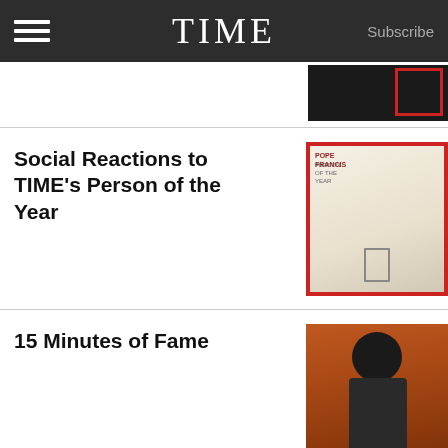TIME  Subscribe
Social Reactions to TIME’s Person of the Year
15 Minutes of Fame
Where Are the Women of the Year?